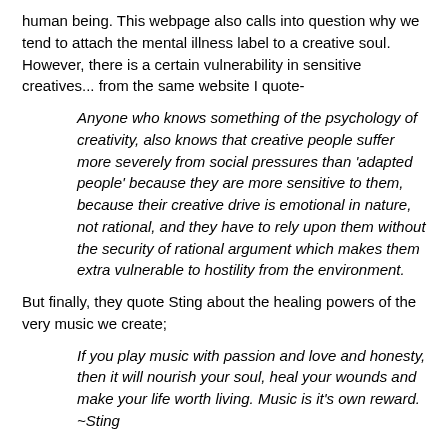human being. This webpage also calls into question why we tend to attach the mental illness label to a creative soul. However, there is a certain vulnerability in sensitive creatives... from the same website I quote-
Anyone who knows something of the psychology of creativity, also knows that creative people suffer more severely from social pressures than 'adapted people' because they are more sensitive to them, because their creative drive is emotional in nature, not rational, and they have to rely upon them without the security of rational argument which makes them extra vulnerable to hostility from the environment.
But finally, they quote Sting about the healing powers of the very music we create;
If you play music with passion and love and honesty, then it will nourish your soul, heal your wounds and make your life worth living. Music is it's own reward. ~Sting